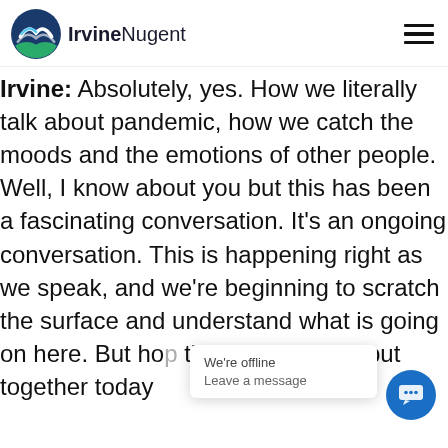IrvineNugent
Irvine: Absolutely, yes. How we literally talk about pandemic, how we catch the moods and the emotions of other people. Well, I know about you but this has been a fascinating conversation. It's an ongoing conversation. This is happening right as we speak, and we're beginning to scratch the surface and understand what is going on here. But ho[pe these] thoughts that we put together today
We're offline
Leave a message